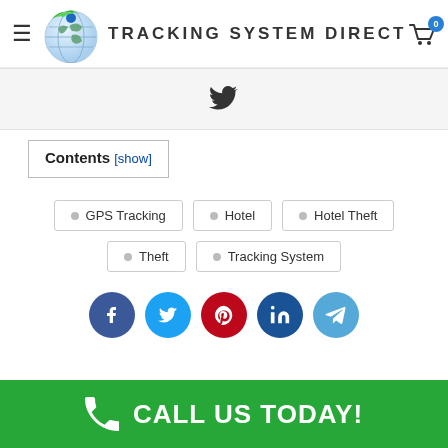[Figure (logo): Tracking System Direct logo with globe icon and brand name]
[Figure (screenshot): Twitter share button bar]
Contents [show]
GPS Tracking
Hotel
Hotel Theft
Theft
Tracking System
[Figure (infographic): Social sharing icons: Facebook, Twitter, Pinterest, LinkedIn, Telegram]
CALL US TODAY!